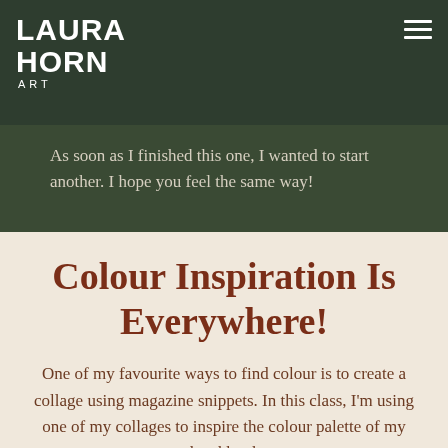LAURA HORN ART
As soon as I finished this one, I wanted to start another. I hope you feel the same way!
Colour Inspiration Is Everywhere!
One of my favourite ways to find colour is to create a collage using magazine snippets. In this class, I'm using one of my collages to inspire the colour palette of my sketchbook.